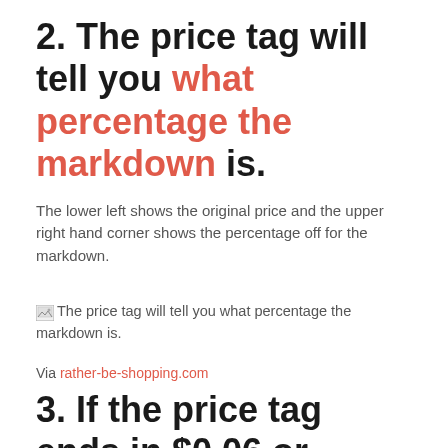2. The price tag will tell you what percentage the markdown is.
The lower left shows the original price and the upper right hand corner shows the percentage off for the markdown.
[Figure (illustration): Broken image placeholder with alt text: The price tag will tell you what percentage the markdown is.]
Via rather-be-shopping.com
3. If the price tag ends in $0.06 or $0.08, the item will be priced down again.
As long as there is inventory in the store. It will probably